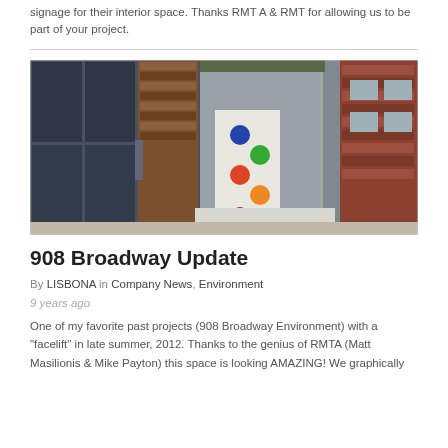signage for their interior space. Thanks RMT A & RMT for allowing us to be part of your project.
[Figure (photo): Exterior photo of 908 Broadway building showing glass facade, wooden panel entry door with colorful circular graphic elements, and adjacent red brick building on the right]
908 Broadway Update
By LISBONA in Company News, Environment
9 years ago
One of my favorite past projects (908 Broadway Environment) with a "facelift" in late summer, 2012. Thanks to the genius of RMTA (Matt Masilionis & Mike Payton) this space is looking AMAZING! We graphically